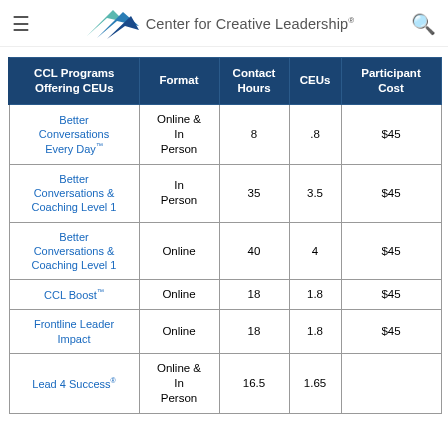Center for Creative Leadership
| CCL Programs Offering CEUs | Format | Contact Hours | CEUs | Participant Cost |
| --- | --- | --- | --- | --- |
| Better Conversations Every Day™ | Online & In Person | 8 | .8 | $45 |
| Better Conversations & Coaching Level 1 | In Person | 35 | 3.5 | $45 |
| Better Conversations & Coaching Level 1 | Online | 40 | 4 | $45 |
| CCL Boost™ | Online | 18 | 1.8 | $45 |
| Frontline Leader Impact | Online | 18 | 1.8 | $45 |
| Lead 4 Success® | Online & In Person | 16.5 | 1.65 |  |